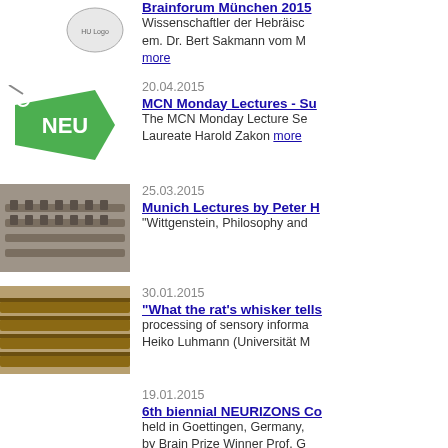[Figure (photo): Logo of an organization, top entry]
Brainforum München 2015
Wissenschaftler der Hebräisc... em. Dr. Bert Sakmann vom M... more
20.04.2015
[Figure (illustration): NEU tag/badge in green]
MCN Monday Lectures - Su...
The MCN Monday Lecture Se... Laureate Harold Zakon more
25.03.2015
[Figure (photo): Lecture hall photo with rows of seats]
Munich Lectures by Peter H...
"Wittgenstein, Philosophy and...
30.01.2015
[Figure (photo): Lecture hall photo with wooden benches]
"What the rat's whisker tells...
processing of sensory informa... Heiko Luhmann (Universität M...
19.01.2015
6th biennial NEURIZONS Co...
held in Goettingen, Germany,... by Brain Prize Winner Prof. G...
14.01.2015